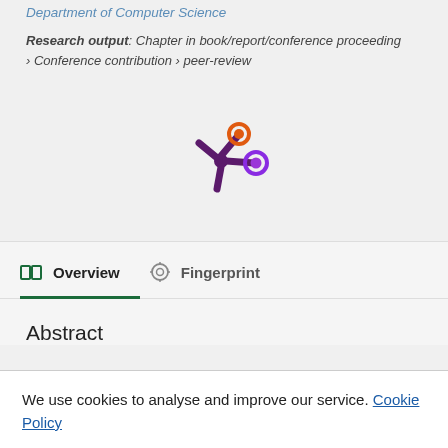Department of Computer Science
Research output: Chapter in book/report/conference proceeding › Conference contribution › peer-review
[Figure (logo): Altmetric/research metrics logo — purple asterisk-like figure with orange and purple circles]
Overview   Fingerprint
Abstract
We use cookies to analyse and improve our service. Cookie Policy